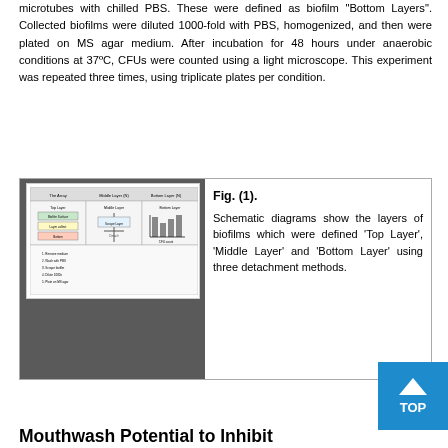microtubes with chilled PBS. These were defined as biofilm "Bottom Layers". Collected biofilms were diluted 1000-fold with PBS, homogenized, and then were plated on MS agar medium. After incubation for 48 hours under anaerobic conditions at 37ºC, CFUs were counted using a light microscope. This experiment was repeated three times, using triplicate plates per condition.
[Figure (schematic): Schematic diagrams show the layers of biofilms which were defined Top Layer, Middle Layer and Bottom Layer using three detachment methods.]
Fig. (1). Schematic diagrams show the layers of biofilms which were defined 'Top Layer', 'Middle Layer' and 'Bottom Layer' using three detachment methods.
Mouthwash Potential to Inhibit